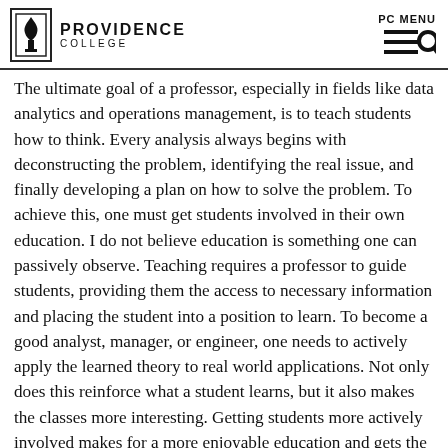PROVIDENCE COLLEGE
The ultimate goal of a professor, especially in fields like data analytics and operations management, is to teach students how to think. Every analysis always begins with deconstructing the problem, identifying the real issue, and finally developing a plan on how to solve the problem. To achieve this, one must get students involved in their own education. I do not believe education is something one can passively observe. Teaching requires a professor to guide students, providing them the access to necessary information and placing the student into a position to learn. To become a good analyst, manager, or engineer, one needs to actively apply the learned theory to real world applications. Not only does this reinforce what a student learns, but it also makes the classes more interesting. Getting students more actively involved makes for a more enjoyable education and gets the students motivated about learning. When they are